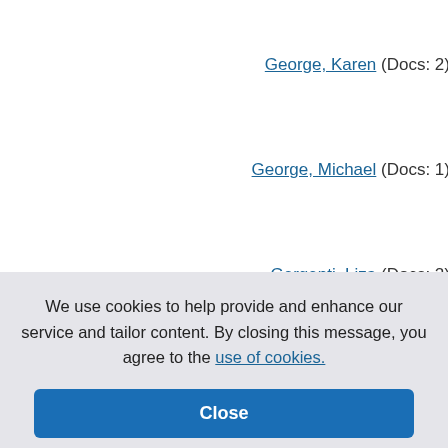George, Karen (Docs: 2)
George, Michael (Docs: 1)
Gergenti, Liza (Docs: 2)
Gervais, Debra A (Docs: 2)
Gervais, Debra Ann (Docs:
Gervais, Debra (Docs: 1)
n-Francois
(Docs: 2)
(Docs: 1)
: 4)
We use cookies to help provide and enhance our service and tailor content. By closing this message, you agree to the use of cookies.